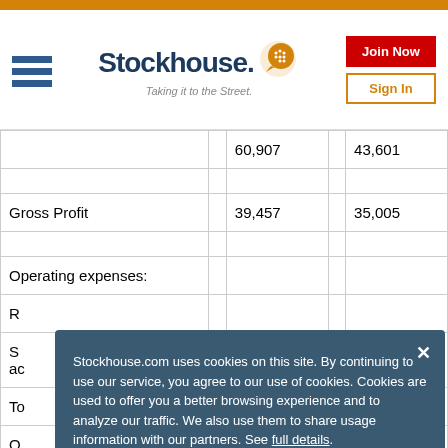[Figure (logo): Stockhouse logo with orange bubble icon and tagline 'Taking it to the Street.']
|  |  |  |  |  |
| --- | --- | --- | --- | --- |
|  |  | 60,907 |  | 43,601 |
|  |  |  |  |  |
| Gross Profit |  | 39,457 |  | 35,005 |
|  |  |  |  |  |
| Operating expenses: |  |  |  |  |
| R... |  |  |  |  |
| S... ac... |  |  |  |  |
| To... |  |  |  |  |
| O... |  |  |  |  |
Stockhouse.com uses cookies on this site. By continuing to use our service, you agree to our use of cookies. Cookies are used to offer you a better browsing experience and to analyze our traffic. We also use them to share usage information with our partners. See full details.